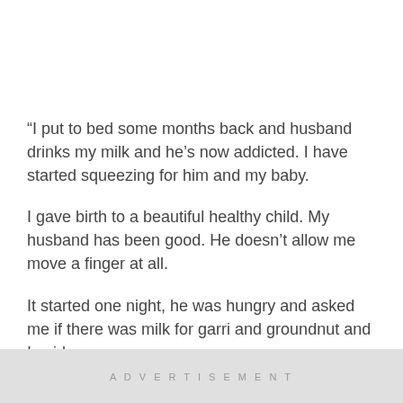“I put to bed some months back and husband drinks my milk and he’s now addicted. I have started squeezing for him and my baby.
I gave birth to a beautiful healthy child. My husband has been good. He doesn’t allow me move a finger at all.
It started one night, he was hungry and asked me if there was milk for garri and groundnut and I said no.
I jokingly said he should use my bre*st mik. Jokingly o.
ADVERTISEMENT